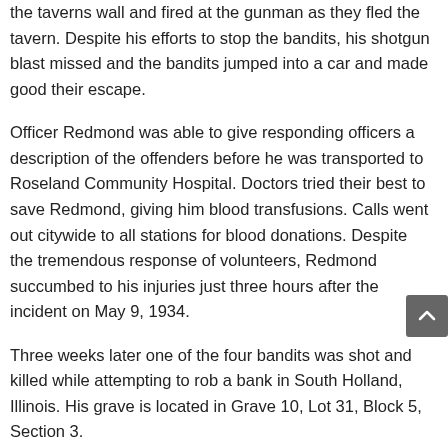the taverns wall and fired at the gunman as they fled the tavern. Despite his efforts to stop the bandits, his shotgun blast missed and the bandits jumped into a car and made good their escape.
Officer Redmond was able to give responding officers a description of the offenders before he was transported to Roseland Community Hospital. Doctors tried their best to save Redmond, giving him blood transfusions. Calls went out citywide to all stations for blood donations. Despite the tremendous response of volunteers, Redmond succumbed to his injuries just three hours after the incident on May 9, 1934.
Three weeks later one of the four bandits was shot and killed while attempting to rob a bank in South Holland, Illinois. His grave is located in Grave 10, Lot 31, Block 5, Section 3.
Officer Redmond was waked at George R. Thompson